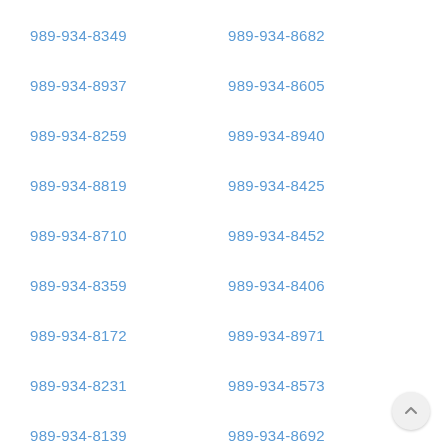989-934-8349
989-934-8682
989-934-8937
989-934-8605
989-934-8259
989-934-8940
989-934-8819
989-934-8425
989-934-8710
989-934-8452
989-934-8359
989-934-8406
989-934-8172
989-934-8971
989-934-8231
989-934-8573
989-934-8139
989-934-8692